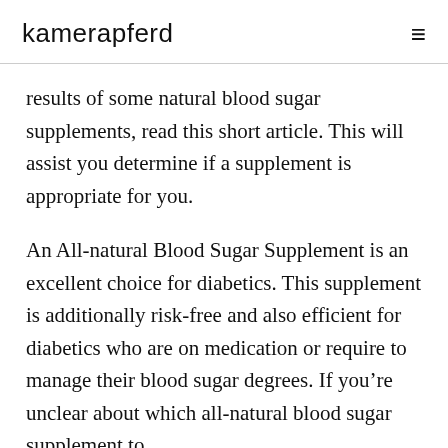kamerapferd
results of some natural blood sugar supplements, read this short article. This will assist you determine if a supplement is appropriate for you.
An All-natural Blood Sugar Supplement is an excellent choice for diabetics. This supplement is additionally risk-free and also efficient for diabetics who are on medication or require to manage their blood sugar degrees. If you’re unclear about which all-natural blood sugar supplement to